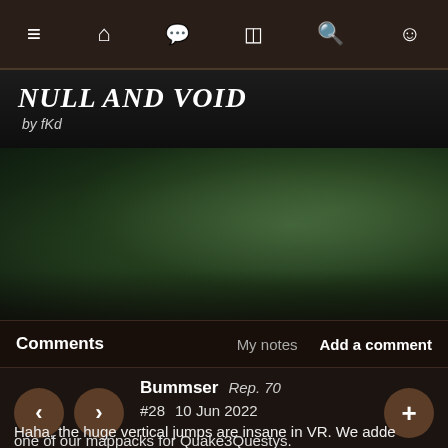Navigation bar with menu, home, chat, pages, search, smiley icons
Null And Void
by fKd
[Figure (photo): Dark blurry screenshot of a game environment, greenish-brown tones]
Comments   My notes   Add a comment
Bummser   Rep. 70
#28   10 Jun 2022
Haha, the huge vertical jumps are insane in VR. We adde... one of our mappacks for Quake3Questys.